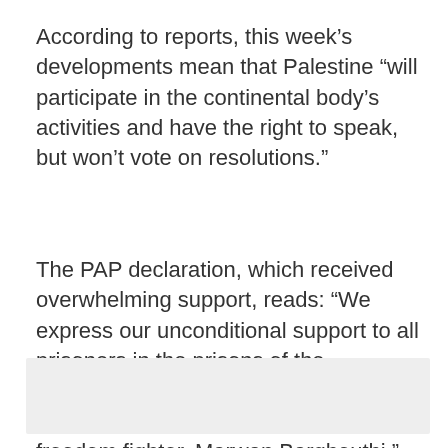According to reports, this week’s developments mean that Palestine “will participate in the continental body’s activities and have the right to speak, but won’t vote on resolutions.”
The PAP declaration, which received overwhelming support, reads: “We express our unconditional support to all prisoners in the prisons of the occupying forces, including members of the Palestinian parliament, led by the freedom fighter, Marwan Barghouthi.”
[Figure (other): Grey rectangle placeholder/image area at the bottom of the page]